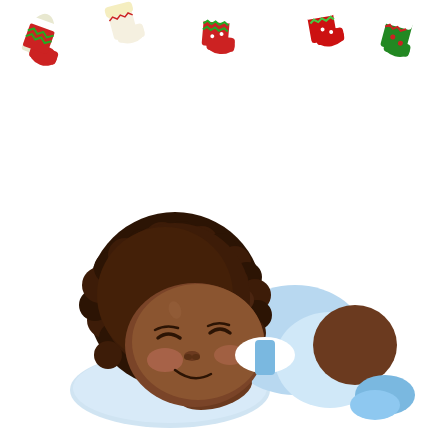[Figure (illustration): Christmas-themed clipart illustration showing five colorful Christmas stockings (red and green with patterns) hanging along the top of the image, and a cute cartoon African American baby boy sleeping/lying on a light blue pillow, wearing a light blue diaper/outfit, with curly dark brown hair and a peaceful smiling expression. The baby is positioned in the lower half of the image on a white background.]